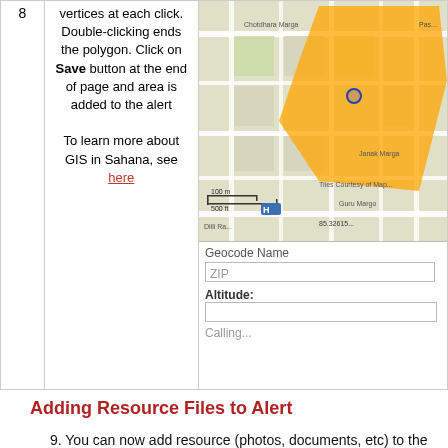| # | Instructions | Image |
| --- | --- | --- |
| 8 | vertices at each click. Double-clicking ends the polygon. Click on Save button at the end of page and area is added to the alert To learn more about GIS in Sahana, see here | [map screenshot + form fields] |
Adding Resource Files to Alert
9. You can now add resource (photos, documents, etc) to the alert by going to the Resource Files tab and click on Add Resource button in the right side of the screen. In the Information